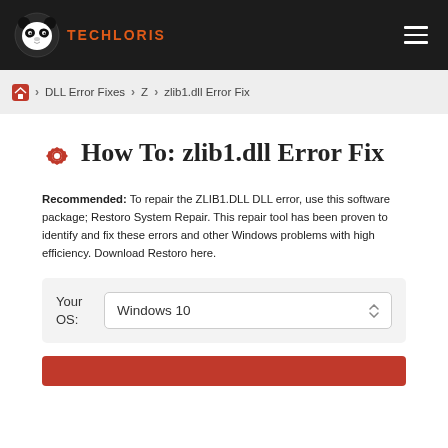TECHLORIS
Home > DLL Error Fixes > Z > zlib1.dll Error Fix
How To: zlib1.dll Error Fix
Recommended: To repair the ZLIB1.DLL DLL error, use this software package; Restoro System Repair. This repair tool has been proven to identify and fix these errors and other Windows problems with high efficiency. Download Restoro here.
Your OS: Windows 10